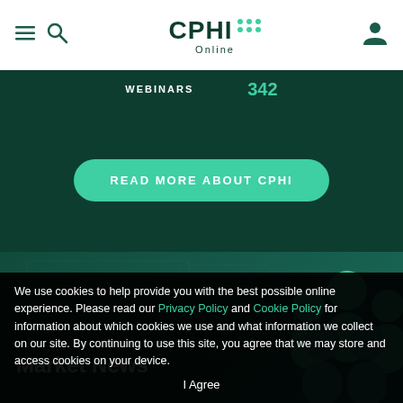CPHI Online navigation bar with hamburger menu, search icon, CPHI Online logo, and user account icon
WEBINARS 342
READ MORE ABOUT CPHI
Market News
We use cookies to help provide you with the best possible online experience. Please read our Privacy Policy and Cookie Policy for information about which cookies we use and what information we collect on our site. By continuing to use this site, you agree that we may store and access cookies on your device.
I Agree